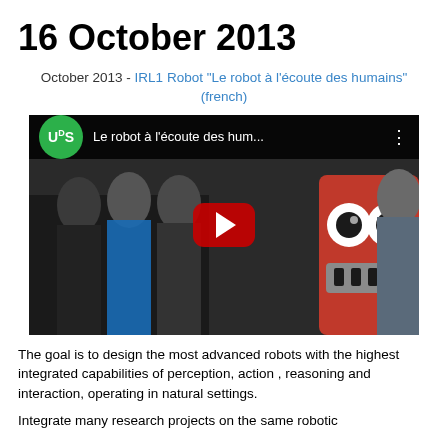16 October 2013
October 2013 - IRL1 Robot "Le robot à l'écoute des humains" (french)
[Figure (screenshot): YouTube video thumbnail showing a robot with a red boxy face with cartoon eyes and a grin, surrounded by people, with the UdS logo and title 'Le robot à l'écoute des hum...' in the header bar and a red play button in the center.]
The goal is to design the most advanced robots with the highest integrated capabilities of perception, action , reasoning and interaction, operating in natural settings.
Integrate many research projects on the same robotic